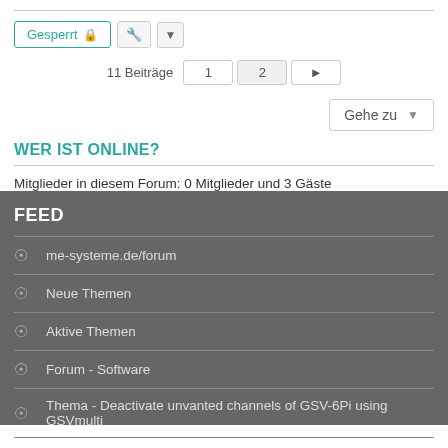Gesperrt
11 Beiträge  1  2  >
Gehe zu
WER IST ONLINE?
Mitglieder in diesem Forum: 0 Mitglieder und 3 Gäste
FEED
me-systeme.de/forum
Neue Themen
Aktive Themen
Forum - Software
Thema - Deactivate unvanted channels of GSV-6Pi using GSVmulti